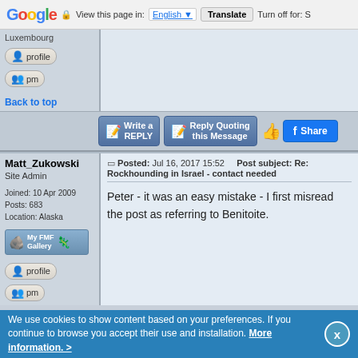Google  View this page in: English  Translate  Turn off for: S
Luxembourg
[Figure (screenshot): profile button - rounded pill button with person icon]
[Figure (screenshot): pm button - rounded pill button with two person icons]
Back to top
[Figure (screenshot): Write a REPLY button - blue forum action button]
[Figure (screenshot): Reply Quoting this Message button - blue forum action button]
[Figure (screenshot): Share button on Facebook]
Posted: Jul 16, 2017 15:52    Post subject: Re: Rockhounding in Israel - contact needed
Matt_Zukowski
Site Admin

Joined: 10 Apr 2009
Posts: 683
Location: Alaska
[Figure (screenshot): My FMF Gallery button]
[Figure (screenshot): profile button]
[Figure (screenshot): pm button partial]
Peter - it was an easy mistake - I first misread the post as referring to Benitoite.
We use cookies to show content based on your preferences. If you continue to browse you accept their use and installation. More information. >